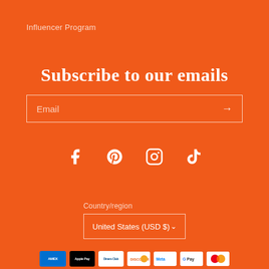Influencer Program
Subscribe to our emails
Email
[Figure (infographic): Social media icons: Facebook, Pinterest, Instagram, TikTok]
Country/region
United States (USD $)
[Figure (infographic): Payment method icons: American Express, Apple Pay, Diners Club, Discover, Meta Pay, Google Pay, Mastercard]